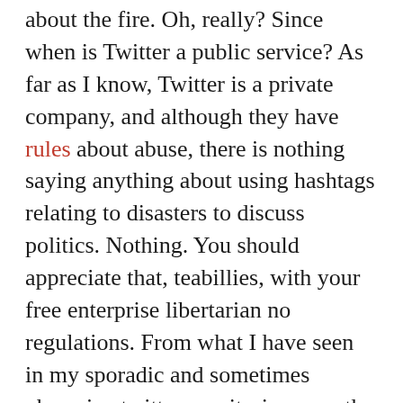about the fire. Oh, really? Since when is Twitter a public service? As far as I know, Twitter is a private company, and although they have rules about abuse, there is nothing saying anything about using hashtags relating to disasters to discuss politics. Nothing. You should appreciate that, teabillies, with your free enterprise libertarian no regulations. From what I have seen in my sporadic and sometimes obsessive twitter monitoring over the last few days is people being attacked by these self-appointed right wing twitter cops for posting anything from sarcastic comments about Romney wanting fewer firefighters to people simply posting a link to what a Colorado congressperson says about pine beetles. If anyone is abusive, it is the the bullies cussing at the people posting with political views. One thing those who have been scolded have in common is they all seem to be from the center or left politically. I'm sure if someone posted a right wing view point with the high park fire hashtag, their political post would not be attacked and they would not be